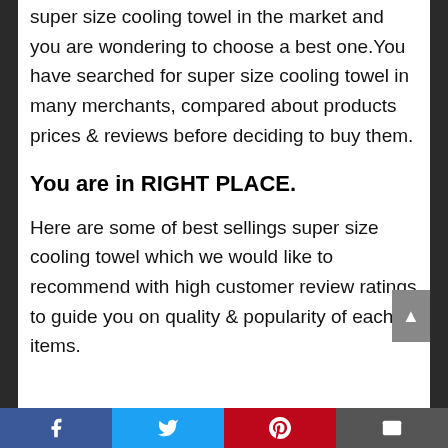super size cooling towel in the market and you are wondering to choose a best one. You have searched for super size cooling towel in many merchants, compared about products prices & reviews before deciding to buy them.
You are in RIGHT PLACE.
Here are some of best sellings super size cooling towel which we would like to recommend with high customer review ratings to guide you on quality & popularity of each items.
Facebook | Twitter | Pinterest | Email